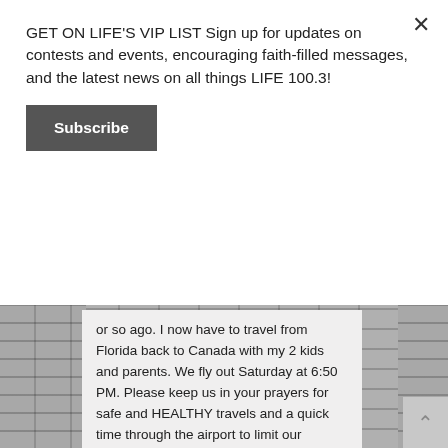GET ON LIFE'S VIP LIST Sign up for updates on contests and events, encouraging faith-filled messages, and the latest news on all things LIFE 100.3!
Subscribe
or so ago. I now have to travel from Florida back to Canada with my 2 kids and parents. We fly out Saturday at 6:50 PM. Please keep us in your prayers for safe and HEALTHY travels and a quick time through the airport to limit our interactions with the many people that will be through there.
Posted on March 19th, 2020